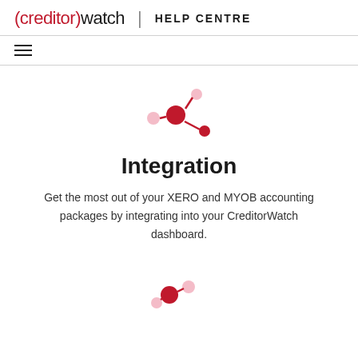(creditor)watch | HELP CENTRE
[Figure (logo): CreditorWatch integration icon: network/share nodes in red and pink]
Integration
Get the most out of your XERO and MYOB accounting packages by integrating into your CreditorWatch dashboard.
[Figure (illustration): Partial integration/network icon at bottom of page, red and pink colored]